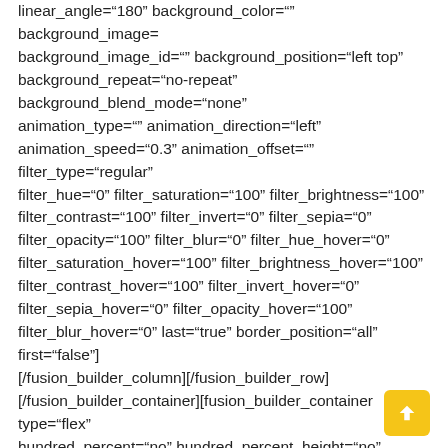linear_angle="180" background_color="" background_image= background_image_id="" background_position="left top" background_repeat="no-repeat" background_blend_mode="none" animation_type="" animation_direction="left" animation_speed="0.3" animation_offset="" filter_type="regular" filter_hue="0" filter_saturation="100" filter_brightness="100" filter_contrast="100" filter_invert="0" filter_sepia="0" filter_opacity="100" filter_blur="0" filter_hue_hover="0" filter_saturation_hover="100" filter_brightness_hover="100" filter_contrast_hover="100" filter_invert_hover="0" filter_sepia_hover="0" filter_opacity_hover="100" filter_blur_hover="0" last="true" border_position="all" first="false"][/fusion_builder_column][/fusion_builder_row][/fusion_builder_container][fusion_builder_container type="flex" hundred_percent="no" hundred_percent_height="no" hundred_percent_height_scroll="no" align_content="stretch" flex_align_items="stretch" flex_justify_content="flex-start" hundred_percent_height_center_content="yes"